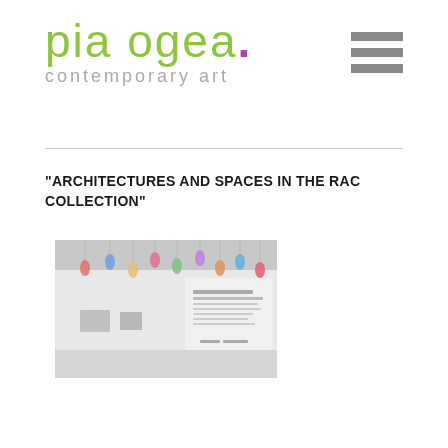pia ogea. contemporary art
"ARCHITECTURES AND SPACES IN THE RAC COLLECTION"
[Figure (photo): Gallery interior showing hanging pendant lights and a display wall with text reading 'Architectures and Spaces in la Coleccion Rac', with artwork exhibition space.]